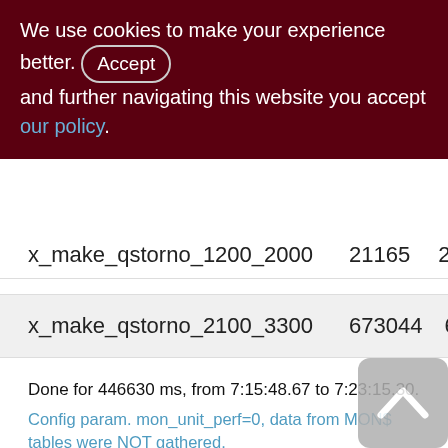We use cookies to make your experience better. By accepting and further navigating this website you accept our policy.
| x_make_qstorno_1200_2000 | 21165 | 210 |
| x_make_qstorno_2100_3300 | 673044 | 6730 |
Done for 446630 ms, from 7:15:48.67 to 7:23:15.30.
Config param. mon_unit_perf=0, data from MON$ tables were NOT gathered.
Exceptions occured during test work:
| FB_MNEMONA | CNT | UNIT |
| --- | --- | --- |
| deadlock | 109 | sp_kill_cost_storno |